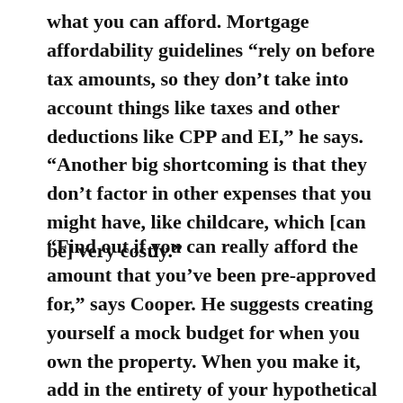what you can afford. Mortgage affordability guidelines “rely on before tax amounts, so they don’t take into account things like taxes and other deductions like CPP and EI,” he says. “Another big shortcoming is that they don’t factor in other expenses that you might have, like childcare, which [can be] very costly.”
“Find out if you can really afford the amount that you’ve been pre-approved for,” says Cooper. He suggests creating yourself a mock budget for when you own the property. When you make it, add in the entirety of your hypothetical expenses—from your mortgage payments to childcare, utilities, home insurance and living expenses—to see if it’s really feasible.